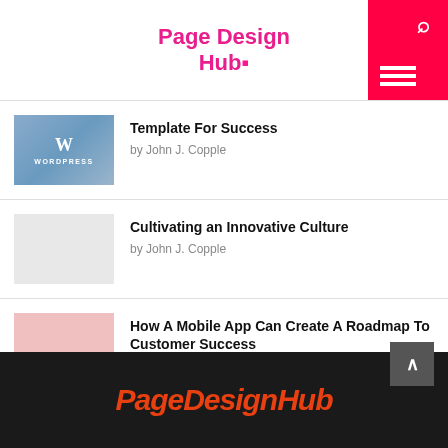Page Design Hub
Template For Success by John J. Copple
Cultivating an Innovative Culture by John J. Copple
How A Mobile App Can Create A Roadmap To Customer Success by John J. Copple
PageDesignHub